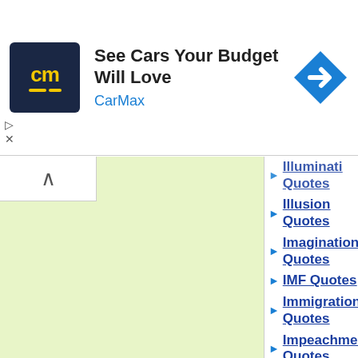[Figure (screenshot): CarMax advertisement banner with logo, headline 'See Cars Your Budget Will Love', and CarMax company name]
Illuminati Quotes
Illusion Quotes
Imagination Quotes
IMF Quotes
Immigration Quotes
Impeachment Quotes
Imperialism Quotes
Imprisonment Quotes
Incompetence Quotes
Independence Quotes
Indifference Quotes
Indignation Quotes
Individualism Quotes
Individualist Quotes
Individual Rights Quotes
Indoctrination Quotes
Industrialism Quotes